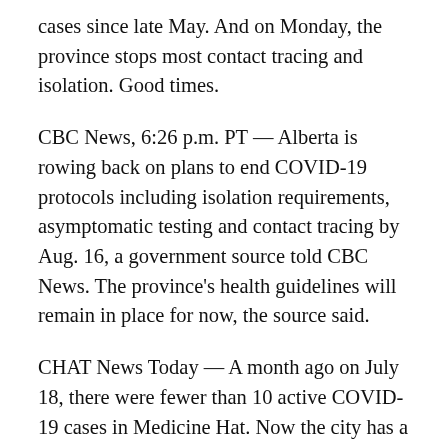cases since late May. And on Monday, the province stops most contact tracing and isolation. Good times.
CBC News, 6:26 p.m. PT — Alberta is rowing back on plans to end COVID-19 protocols including isolation requirements, asymptomatic testing and contact tracing by Aug. 16, a government source told CBC News. The province's health guidelines will remain in place for now, the source said.
CHAT News Today — A month ago on July 18, there were fewer than 10 active COVID-19 cases in Medicine Hat. Now the city has a record-high 361 active cases, with 12 people currently in hospital.